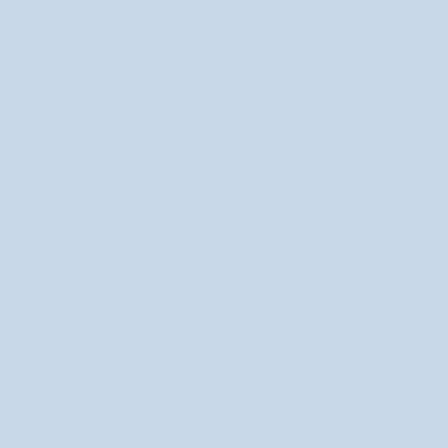dusty hotel room with a devastati... The townspeople offer to take ca... house, always offered a bed to sl... bender, and the harder he resists... gradually begin to slide off him, l... discern himself from the locals (p... civilization is washed away.
[Figure (photo): Dark photograph of a man, partially visible at the right edge of the page, appearing to be in low light conditions.]